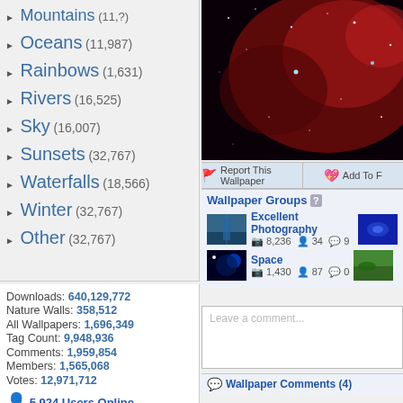Mountains (11,?)
Oceans (11,987)
Rainbows (1,631)
Rivers (16,525)
Sky (16,007)
Sunsets (32,767)
Waterfalls (18,566)
Winter (32,767)
Other (32,767)
Downloads: 640,129,772
Nature Walls: 358,512
All Wallpapers: 1,696,349
Tag Count: 9,948,936
Comments: 1,959,854
Members: 1,565,068
Votes: 12,971,712
5,924 Users Online
103 members, 5,821 guests
AlvaradoSulwen, Anderlecht, artinconstruction, Astro, BestPsychic000, bmpressurewashing2, Boatent98, boliou, brandbajade, bridgecounseling, brighterfinance, CarrollDentistry, cell-phone-hacking, chatonfragile, Cleaners567, ColbyRichardson, cortez68341, crypticpixelseo, cupidc657, deborahhinkley, doyleplumbinggroup, driverjoe, duanvinhomescom, dubmovie, enailvietnam, erahobb,
[Figure (photo): Space/nebula photograph showing red nebula with bright stars against dark background]
Report This Wallpaper
Add To F
Wallpaper Groups
[Figure (photo): Thumbnail of bridge/water photo for Excellent Photography group]
Excellent Photography
8,236  34  9
[Figure (photo): Thumbnail of space/blue photo for Space group]
Space
1,430  87  0
Leave a comment...
Wallpaper Comments (4)